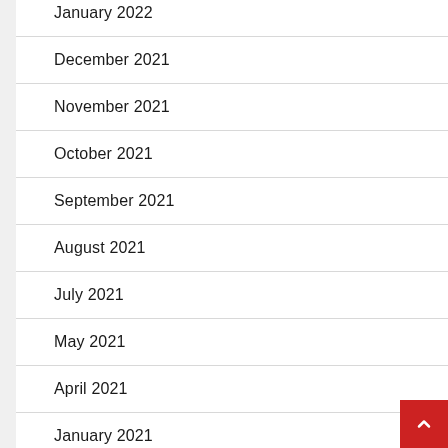January 2022
December 2021
November 2021
October 2021
September 2021
August 2021
July 2021
May 2021
April 2021
January 2021